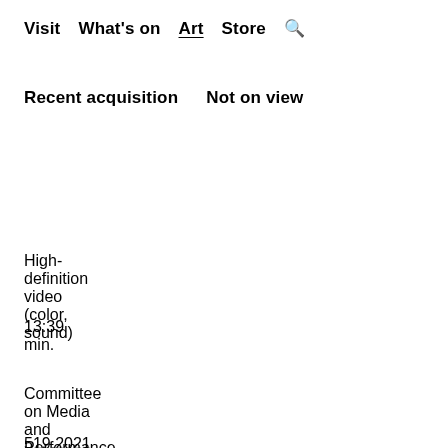Visit   What's on   Art   Store   🔍
Recent acquisition    Not on view
Medium
High-definition video (color, sound)
Duration
13:39 min.
Credit
Committee on Media and Performance Funds
Object number
519.2021